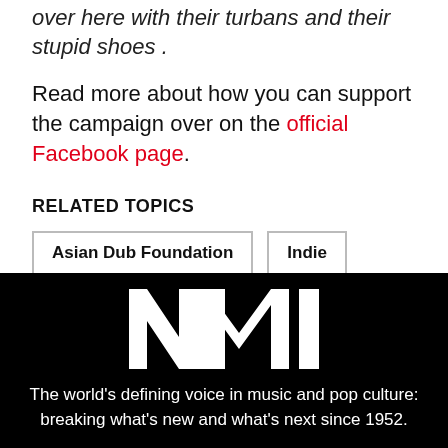over here with their turbans and their stupid shoes .
Read more about how you can support the campaign over on the official Facebook page.
RELATED TOPICS
Asian Dub Foundation
Indie
[Figure (logo): NME logo in white on black background]
The world's defining voice in music and pop culture: breaking what's new and what's next since 1952.